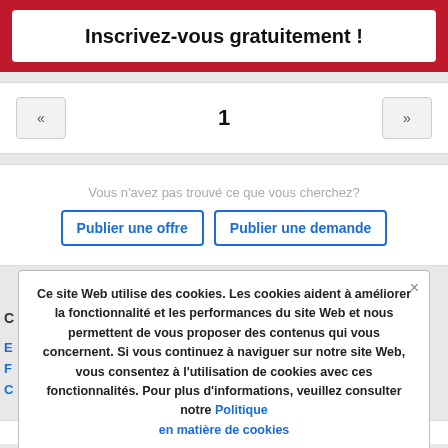Inscrivez-vous gratuitement !
« 1 »
Vous n'avez pas trouvé ce que vous cherchez?
Publier une offre
Publier une demande
Ce site Web utilise des cookies. Les cookies aident à améliorer la fonctionnalité et les performances du site Web et nous permettent de vous proposer des contenus qui vous concernent. Si vous continuez à naviguer sur notre site Web, vous consentez à l'utilisation de cookies avec ces fonctionnalités. Pour plus d'informations, veuillez consulter notre Politique en matière de cookies
Publier une offre